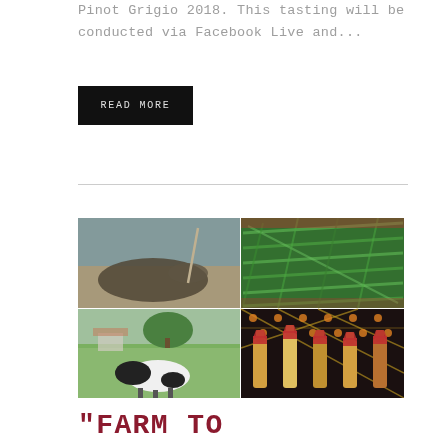Pinot Grigio 2018. This tasting will be conducted via Facebook Live and...
READ MORE
[Figure (photo): A 2x2 grid of four photos: top-left shows a large fish/reptile on a shoreline; top-right shows green beans or similar green vegetables in a basket; bottom-left shows a pastoral scene with a black and white cow in a green field; bottom-right shows multiple champagne/wine bottles with red foil tops against a decorative black and yellow background.]
“FARM TO